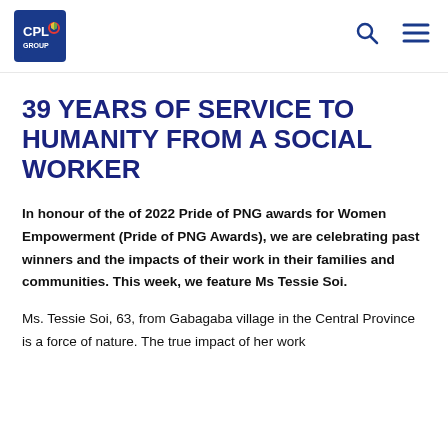CPL GROUP logo, search icon, menu icon
39 YEARS OF SERVICE TO HUMANITY FROM A SOCIAL WORKER
In honour of the of 2022 Pride of PNG awards for Women Empowerment (Pride of PNG Awards), we are celebrating past winners and the impacts of their work in their families and communities. This week, we feature Ms Tessie Soi.
Ms. Tessie Soi, 63, from Gabagaba village in the Central Province is a force of nature. The true impact of her work